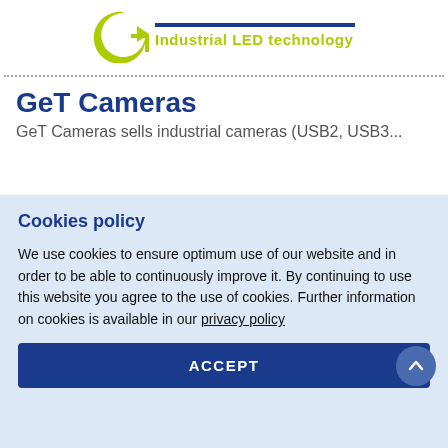[Figure (logo): GeT Cameras logo with green circular G arrow icon, dark blue horizontal line, and yellow-green 'Industrial LED technology' tagline]
GeT Cameras
GeT Cameras sells industrial cameras (USB2, USB3...
Cookies policy
We use cookies to ensure optimum use of our website and in order to be able to continuously improve it. By continuing to use this website you agree to the use of cookies. Further information on cookies is available in our privacy policy
ACCEPT